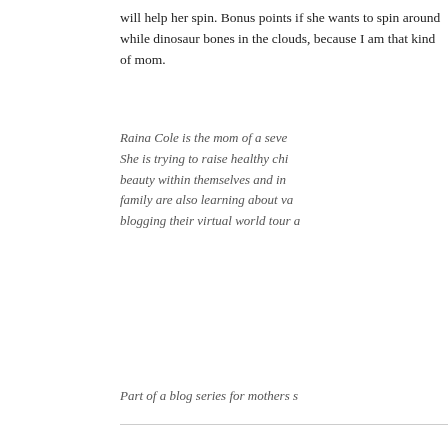will help her spin. Bonus points if she wants to spin around while dinosaur bones in the clouds, because I am that kind of mom.
Raina Cole is the mom of a seve She is trying to raise healthy chi beauty within themselves and in family are also learning about va blogging their virtual world tour a
Part of a blog series for mothers s
Social Links
Continue the conversation. Please use the links below to share th